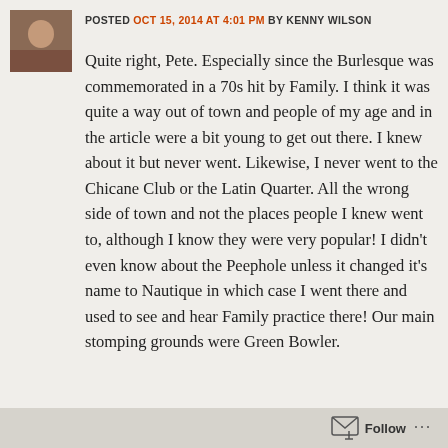[Figure (photo): Small avatar photo of a person, appearing to be a woman, used as commenter profile picture]
POSTED OCT 15, 2014 AT 4:01 PM BY KENNY WILSON
Quite right, Pete. Especially since the Burlesque was commemorated in a 70s hit by Family. I think it was quite a way out of town and people of my age and in the article were a bit young to get out there. I knew about it but never went. Likewise, I never went to the Chicane Club or the Latin Quarter. All the wrong side of town and not the places people I knew went to, although I know they were very popular! I didn't even know about the Peephole unless it changed it's name to Nautique in which case I went there and used to see and hear Family practice there! Our main stomping grounds were Green Bowler.
Follow ...